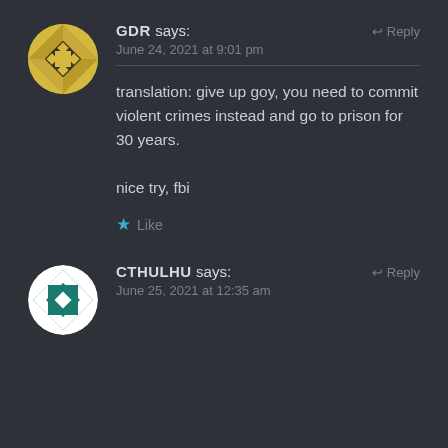[Figure (illustration): Circular avatar with gold/yellow geometric quilt pattern on dark background]
GDR says:
Reply
June 24, 2021 at 9:01 pm
translation: give up goy, you need to commit violent crimes instead and go to prison for 30 years.

nice try, fbi
★ Like
[Figure (illustration): Circular avatar with teal/dark green geometric diamond pattern on white background]
CTHULHU says:
Reply
June 25, 2021 at 12:35 am